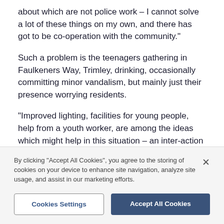about which are not police work – I cannot solve a lot of these things on my own, and there has got to be co-operation with the community."
Such a problem is the teenagers gathering in Faulkeners Way, Trimley, drinking, occasionally committing minor vandalism, but mainly just their presence worrying residents.
"Improved lighting, facilities for young people, help from a youth worker, are among the ideas which might help in this situation – an inter-action between different groups, and the police will be part of it. But
By clicking "Accept All Cookies", you agree to the storing of cookies on your device to enhance site navigation, analyze site usage, and assist in our marketing efforts.